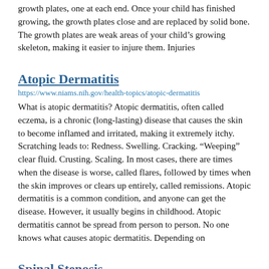growth plates, one at each end. Once your child has finished growing, the growth plates close and are replaced by solid bone. The growth plates are weak areas of your child's growing skeleton, making it easier to injure them. Injuries
Atopic Dermatitis
https://www.niams.nih.gov/health-topics/atopic-dermatitis
What is atopic dermatitis? Atopic dermatitis, often called eczema, is a chronic (long-lasting) disease that causes the skin to become inflamed and irritated, making it extremely itchy. Scratching leads to: Redness. Swelling. Cracking. “Weeping” clear fluid. Crusting. Scaling. In most cases, there are times when the disease is worse, called flares, followed by times when the skin improves or clears up entirely, called remissions. Atopic dermatitis is a common condition, and anyone can get the disease. However, it usually begins in childhood. Atopic dermatitis cannot be spread from person to person. No one knows what causes atopic dermatitis. Depending on
Spinal Stenosis
https://www.niams.nih.gov/health-topics/spinal-stenosis
What is spinal stenosis? Spinal stenosis happens when the spaces in the spine narrow and create pressure on the spinal cord and